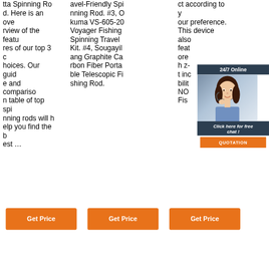tta Spinning Rod. Here is an overview of the features of our top 3 choices. Our guide and comparison table of top spinning rods will help you find the best ...
avel-Friendly Spinning Rod. #3, Okuma VS-605-20 Voyager Fishing Spinning Travel Kit. #4, Sougayilang Graphite Carbon Fiber Portable Telescopic Fishing Rod.
ct according to your preference. This device also features more h z-t inc bilit, NO Fis
[Figure (photo): Chat widget overlay with woman wearing headset, 24/7 Online header, 'Click here for free chat!' text, and QUOTATION orange button]
Get Price
Get Price
Get Price
[Figure (photo): Product image - fishing rod component, dark handle/reel]
[Figure (photo): Product image - fishing reel, black]
[Figure (photo): Product image - fishing equipment]